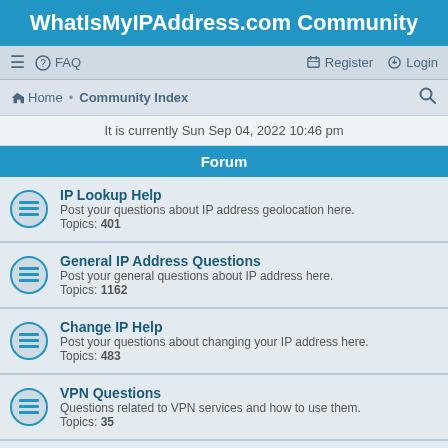WhatIsMyIPAddress.com Community
≡  FAQ    Register  Login
Home · Community Index
It is currently Sun Sep 04, 2022 10:46 pm
Forum
IP Lookup Help — Post your questions about IP address geolocation here. Topics: 401
General IP Address Questions — Post your general questions about IP address here. Topics: 1162
Change IP Help — Post your questions about changing your IP address here. Topics: 483
VPN Questions — Questions related to VPN services and how to use them. Topics: 35
Proxy Server Questions — Post your questions about proxy servers here. Topics: 152
Email Tracing Help